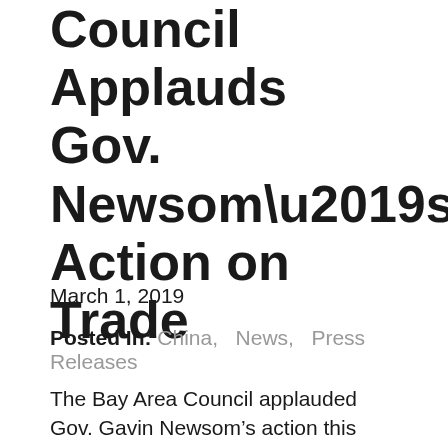Council Applauds Gov. Newsom's Action on Trade
March 1, 2019
Posted In: China, News, Press Releases
The Bay Area Council applauded Gov. Gavin Newsom’s action this week (Feb. 28) appointing Lt. Gov. and former U.S. Ambassador Eleni Kounalakis as California’s International and Trade Development Representative and creating the International Affairs and Trade Development Interagency Committee that she will lead. Lenny Mendonca, Gov. Newsom’s Senior Economic Advisor, and former chair of the Bay Area...